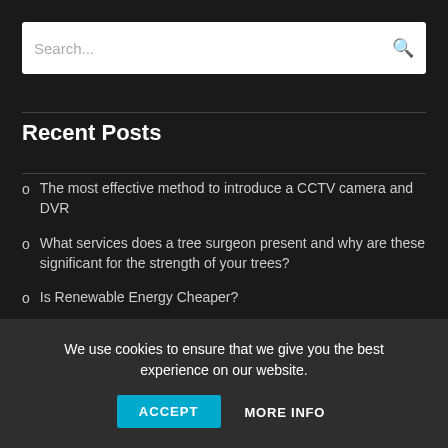Search...
Recent Posts
The most effective method to introduce a CCTV camera and DVR
What services does a tree surgeon present and why are these significant for the strength of your trees?
Is Renewable Energy Cheaper?
Are we all choosing the right way for the future generation?
We use cookies to ensure that we give you the best experience on our website.
ACCEPT
MORE INFO